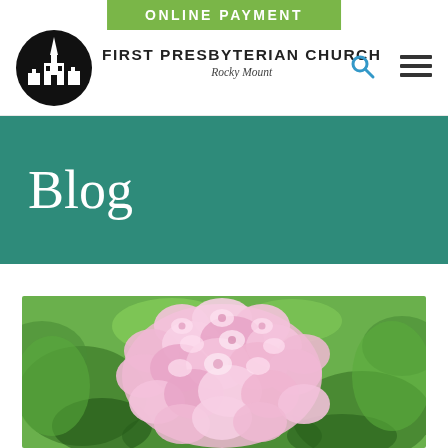ONLINE PAYMENT
[Figure (logo): First Presbyterian Church Rocky Mount logo — black circle with white church steeple silhouette, church name text beside it]
Blog
[Figure (illustration): Watercolor painting of pink hydrangea flowers with green leaves background]